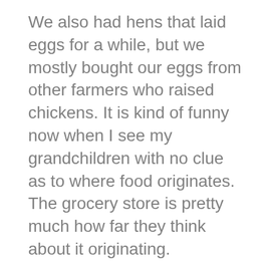We also had hens that laid eggs for a while, but we mostly bought our eggs from other farmers who raised chickens. It is kind of funny now when I see my grandchildren with no clue as to where food originates. The grocery store is pretty much how far they think about it originating.